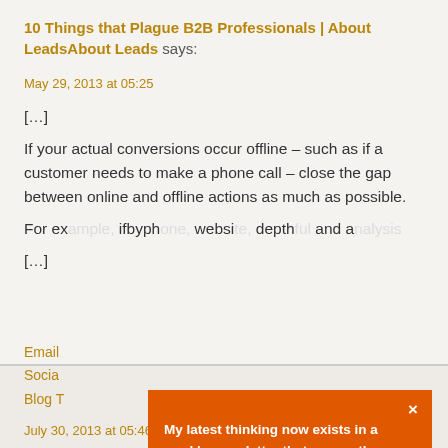10 Things that Plague B2B Professionals | About LeadsAbout Leads says:
May 29, 2013 at 05:25
[...]
If your actual conversions occur offline – such as if a customer needs to make a phone call – close the gap between online and offline actions as much as possible.
For ex… ifbyph… websi… depth… and a…
[...]
[Figure (screenshot): Orange popup modal overlay with text: 'My latest thinking now exists in a weekly newsletter that covers the world of Analytics, Marketing & Leadership.' and 'Interested in thinking smart & moving fast?' with a 'Join The Movement' button]
Email
Socia
Blog T
July 30, 2013 at 05:46